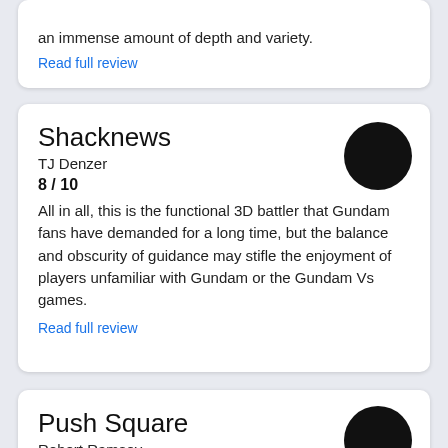an immense amount of depth and variety.
Read full review
Shacknews
TJ Denzer
8 / 10
All in all, this is the functional 3D battler that Gundam fans have demanded for a long time, but the balance and obscurity of guidance may stifle the enjoyment of players unfamiliar with Gundam or the Gundam Vs games.
Read full review
Push Square
Robert Ramsey
8 / 10